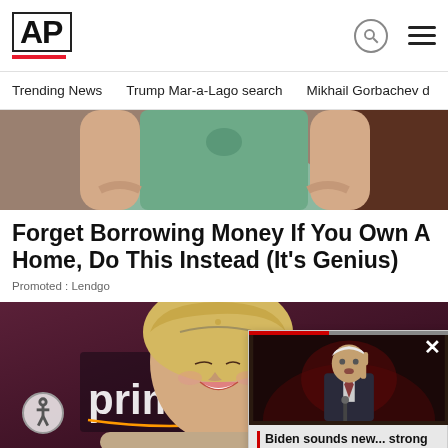AP
Trending News   Trump Mar-a-Lago search   Mikhail Gorbachev d
[Figure (photo): Partial view of a woman in a green dress, cropped at torso level]
Forget Borrowing Money If You Own A Home, Do This Instead (It's Genius)
Promoted : Lendgo
[Figure (photo): Blonde woman smiling at a Prime Video event, with Amazon Prime video banner in background]
[Figure (photo): Video overlay thumbnail showing a man in suit speaking at a podium, with caption: Biden sounds new... strong alarm: Trumpism menace...]